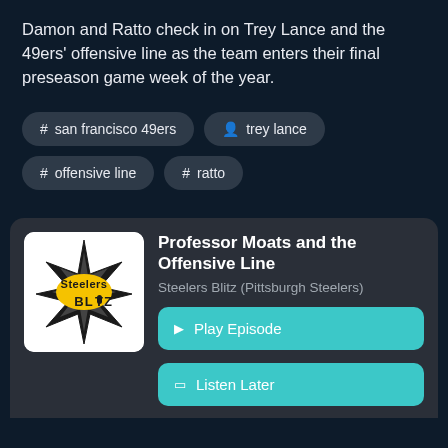Damon and Ratto check in on Trey Lance and the 49ers' offensive line as the team enters their final preseason game week of the year.
# san francisco 49ers
person trey lance
# offensive line
# ratto
[Figure (logo): Steelers Blitz podcast logo — black star with lightning bolt, 'Steelers' in gold text, 'BLITZ' in black text with microphone icon]
Professor Moats and the Offensive Line
Steelers Blitz (Pittsburgh Steelers)
Play Episode
Listen Later